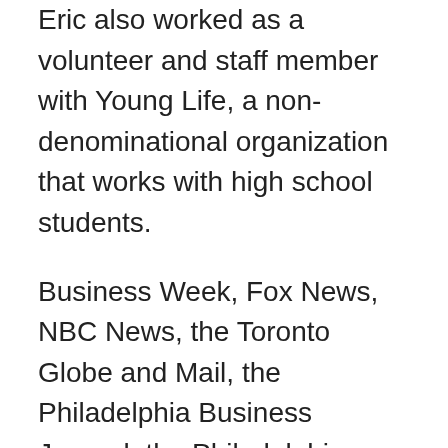Eric also worked as a volunteer and staff member with Young Life, a non-denominational organization that works with high school students.
Business Week, Fox News, NBC News, the Toronto Globe and Mail, the Philadelphia Business Journal, the Philadelphia Inquirer, Inc.com, Careerbuilder.com, MSNBC.com, Monster.com, and the LinkedIn Talent Blog have all featured his work.
Eric holds a master's degree from